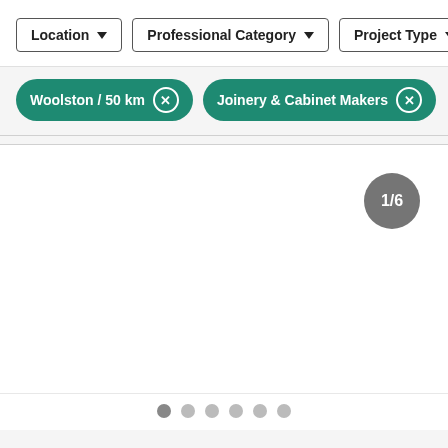[Figure (screenshot): Filter bar with three dropdown buttons: Location, Professional Category, Project Type]
Woolston / 50 km
Joinery & Cabinet Makers
[Figure (screenshot): Content area showing page indicator '1/6' in a grey circle, with pagination dots at the bottom (6 dots, first one darker/active)]